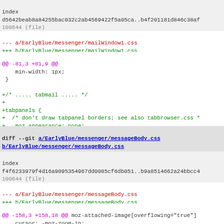index
d5642beab8a84255bac032c2ab4569422f5a05ca..b4f201181d846c38af
100644 (file)
--- a/EarlyBlue/messenger/mailWindow1.css
+++ b/EarlyBlue/messenger/mailWindow1.css
@@ -81,3 +81,9 @@
    min-width: 1px;
 }

+/* ..... tabmail ..... */
+
+tabpanels {
+  /* don't draw tabpanel borders; see also tabbrowser.css *
+  -moz-appearance: none;
+}
diff --git a/EarlyBlue/messenger/messageBody.css b/EarlyBlue/messenger/messageBody.css
index
f4f6233979f4d16a9095354967dd0085cf6db051..b9a8514662a24bbcc4
100644 (file)
--- a/EarlyBlue/messenger/messageBody.css
+++ b/EarlyBlue/messenger/messageBody.css
@@ -158,3 +158,18 @@ moz-attached-image[overflowing="true"]
    cursor: -moz-zoom-in;
    max-width: 100%;
 }
+
+/* Style new format rss summary vs web page */
+body[selected="false"],
+iframe[selected="false"] {